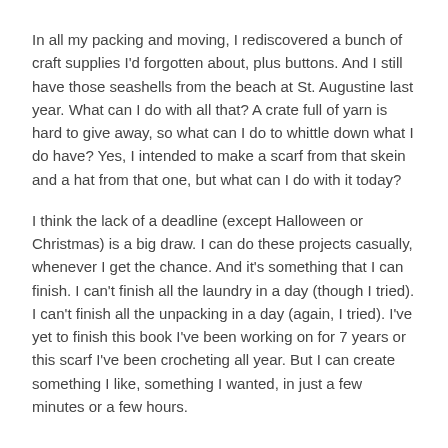In all my packing and moving, I rediscovered a bunch of craft supplies I'd forgotten about, plus buttons. And I still have those seashells from the beach at St. Augustine last year. What can I do with all that? A crate full of yarn is hard to give away, so what can I do to whittle down what I do have? Yes, I intended to make a scarf from that skein and a hat from that one, but what can I do with it today?
I think the lack of a deadline (except Halloween or Christmas) is a big draw. I can do these projects casually, whenever I get the chance. And it's something that I can finish. I can't finish all the laundry in a day (though I tried). I can't finish all the unpacking in a day (again, I tried). I've yet to finish this book I've been working on for 7 years or this scarf I've been crocheting all year. But I can create something I like, something I wanted, in just a few minutes or a few hours.